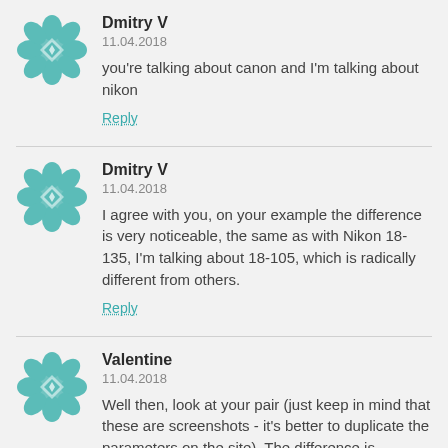[Figure (illustration): Teal geometric floral avatar icon for Dmitry V (first comment)]
Dmitry V
11.04.2018
you're talking about canon and I'm talking about nikon
Reply
[Figure (illustration): Teal geometric floral avatar icon for Dmitry V (second comment)]
Dmitry V
11.04.2018
I agree with you, on your example the difference is very noticeable, the same as with Nikon 18-135, I'm talking about 18-105, which is radically different from others.
Reply
[Figure (illustration): Teal geometric floral avatar icon for Valentine]
Valentine
11.04.2018
Well then, look at your pair (just keep in mind that these are screenshots - it's better to duplicate the parameters on the site). The difference is obvious, why you do not notice it, I do not know. And again, you focus only on one characteristic, which is probably important for